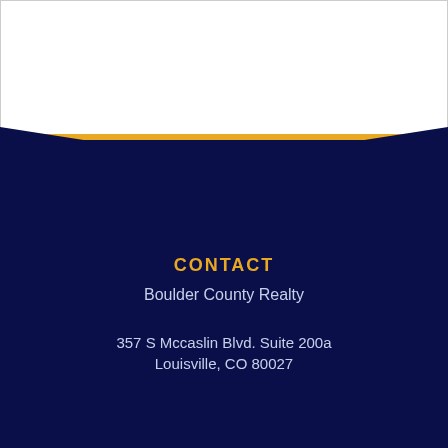CONTACT
Boulder County Realty
357 S Mccaslin Blvd. Suite 200a
Louisville, CO 80027